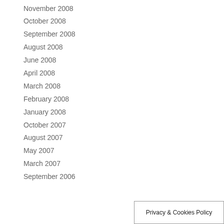November 2008
October 2008
September 2008
August 2008
June 2008
April 2008
March 2008
February 2008
January 2008
October 2007
August 2007
May 2007
March 2007
September 2006
Privacy & Cookies Policy